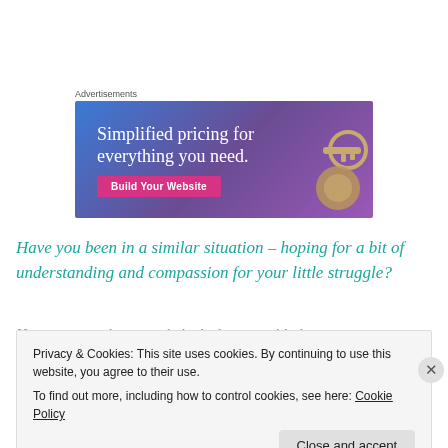Advertisements
[Figure (illustration): Advertisement banner with gradient blue-purple background showing 'Simplified pricing for everything you need.' with a pink 'Build Your Website' button and an image of a key on the right side.]
Have you been in a similar situation – hoping for a bit of understanding and compassion for your little struggle?
Has someone also recently looked to you with that same
Privacy & Cookies: This site uses cookies. By continuing to use this website, you agree to their use.
To find out more, including how to control cookies, see here: Cookie Policy
Close and accept